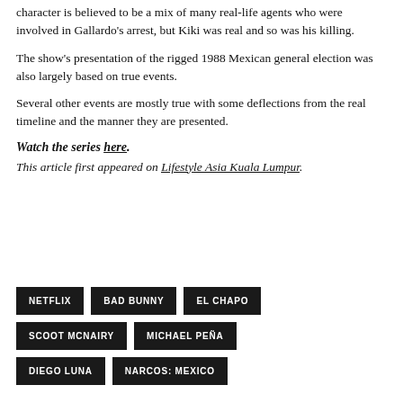character is believed to be a mix of many real-life agents who were involved in Gallardo's arrest, but Kiki was real and so was his killing.
The show's presentation of the rigged 1988 Mexican general election was also largely based on true events.
Several other events are mostly true with some deflections from the real timeline and the manner they are presented.
Watch the series here.
This article first appeared on Lifestyle Asia Kuala Lumpur.
NETFLIX
BAD BUNNY
EL CHAPO
SCOOT MCNAIRY
MICHAEL PEÑA
DIEGO LUNA
NARCOS: MEXICO